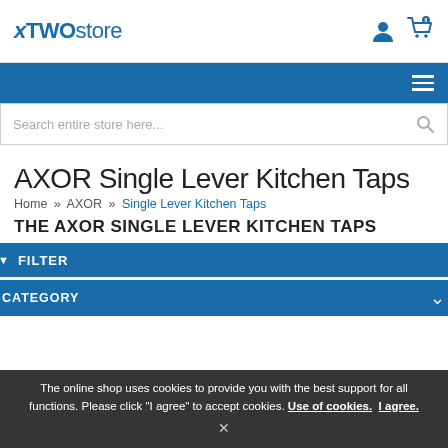xTWOstore
Search entire store here...
AXOR Single Lever Kitchen Taps
Home » AXOR » Single Lever Kitchen Taps
THE AXOR SINGLE LEVER KITCHEN TAPS
▼ FILTER
CATEGORY
The online shop uses cookies to provide you with the best support for all functions. Please click "I agree" to accept cookies. Use of cookies. I agree.